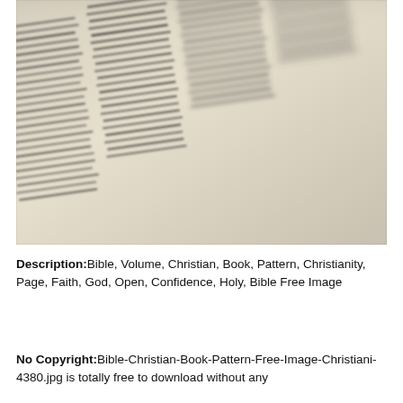[Figure (photo): Close-up photograph of an open Bible showing columns of small printed text at an angle, with shallow depth of field causing some text to blur.]
Description:Bible, Volume, Christian, Book, Pattern, Christianity, Page, Faith, God, Open, Confidence, Holy, Bible Free Image
No Copyright:Bible-Christian-Book-Pattern-Free-Image-Christiani-4380.jpg is totally free to download without any